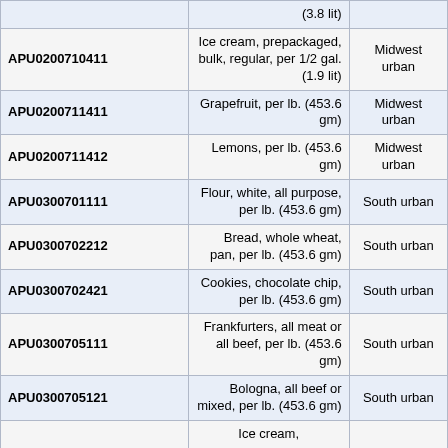|  | (3.8 lit) |  |
| APU0200710411 | Ice cream, prepackaged, bulk, regular, per 1/2 gal. (1.9 lit) | Midwest urban |
| APU0200711411 | Grapefruit, per lb. (453.6 gm) | Midwest urban |
| APU0200711412 | Lemons, per lb. (453.6 gm) | Midwest urban |
| APU0300701111 | Flour, white, all purpose, per lb. (453.6 gm) | South urban |
| APU0300702212 | Bread, whole wheat, pan, per lb. (453.6 gm) | South urban |
| APU0300702421 | Cookies, chocolate chip, per lb. (453.6 gm) | South urban |
| APU0300705111 | Frankfurters, all meat or all beef, per lb. (453.6 gm) | South urban |
| APU0300705121 | Bologna, all beef or mixed, per lb. (453.6 gm) | South urban |
|  | Ice cream, |  |